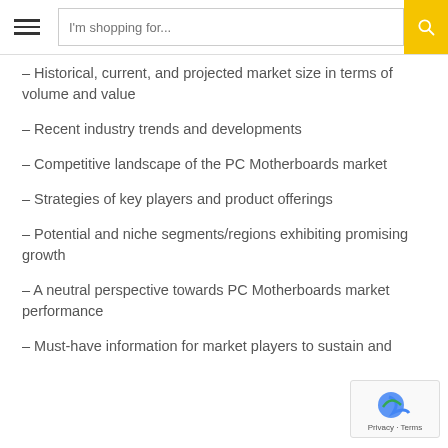I'm shopping for...
– Historical, current, and projected market size in terms of volume and value
– Recent industry trends and developments
– Competitive landscape of the PC Motherboards market
– Strategies of key players and product offerings
– Potential and niche segments/regions exhibiting promising growth
– A neutral perspective towards PC Motherboards market performance
– Must-have information for market players to sustain and...